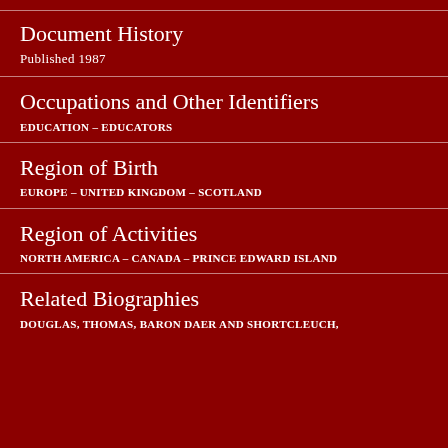Document History
Published 1987
Occupations and Other Identifiers
EDUCATION – EDUCATORS
Region of Birth
EUROPE – UNITED KINGDOM – SCOTLAND
Region of Activities
NORTH AMERICA – CANADA – PRINCE EDWARD ISLAND
Related Biographies
DOUGLAS, THOMAS, BARON DAER AND SHORTCLEUCH,